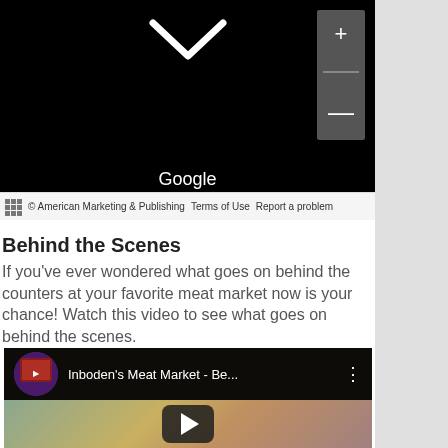[Figure (screenshot): Google Maps interface showing map view with chevron/arrow icon, plus/minus zoom controls, Google label, and bottom bar with grid icon, copyright American Marketing & Publishing, Terms of Use, and Report a problem links]
Behind the Scenes
If you’ve ever wondered what goes on behind the counters at your favorite meat market now is your chance! Watch this video to see what goes on behind the scenes.
[Figure (screenshot): YouTube video thumbnail for Inboden's Meat Market - Be... showing meat market display case with play button overlay]